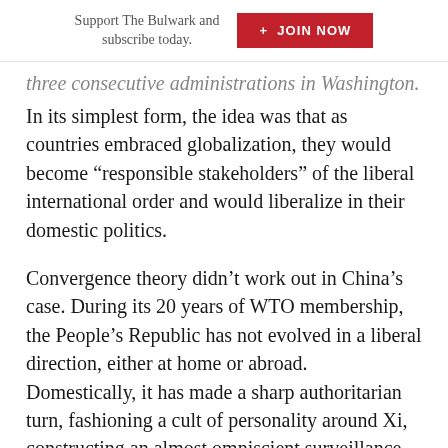Support The Bulwark and subscribe today. + JOIN NOW
three consecutive administrations in Washington.
In its simplest form, the idea was that as countries embraced globalization, they would become “responsible stakeholders” of the liberal international order and would liberalize in their domestic politics.
Convergence theory didn’t work out in China’s case. During its 20 years of WTO membership, the People’s Republic has not evolved in a liberal direction, either at home or abroad. Domestically, it has made a sharp authoritarian turn, fashioning a cult of personality around Xi, constructing an almost omniscient surveillance state, conducting